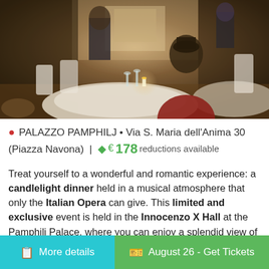[Figure (photo): Candlelight dinner scene at an elegant venue with guests seated at round tables with white tablecloths, champagne glasses, and a candle centerpiece. A person in a red outfit is visible in the foreground.]
PALAZZO PAMPHILJ • Via S. Maria dell'Anima 30 (Piazza Navona) | € 178 reductions available
Treat yourself to a wonderful and romantic experience: a candlelight dinner held in a musical atmosphere that only the Italian Opera can give. This limited and exclusive event is held in the Innocenzo X Hall at the Pamphilj Palace, where you can enjoy a splendid view of Piazza Navona. An elegant place where you can…